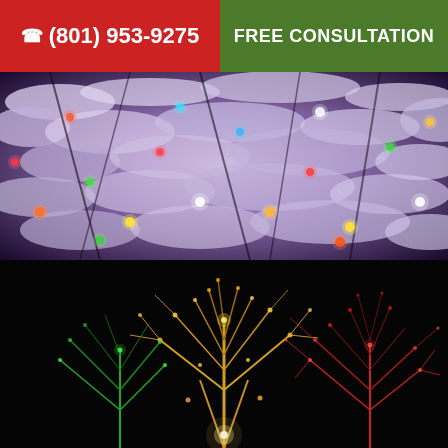☎ (801) 953-9275 | FREE CONSULTATION
[Figure (photo): Snow-covered tree branches illuminated with colorful Christmas lights in pink, red, green, yellow and white tones, viewed close up at night]
[Figure (photo): Trees wrapped in yellow/gold, green, and red Christmas lights against a dark night sky background]